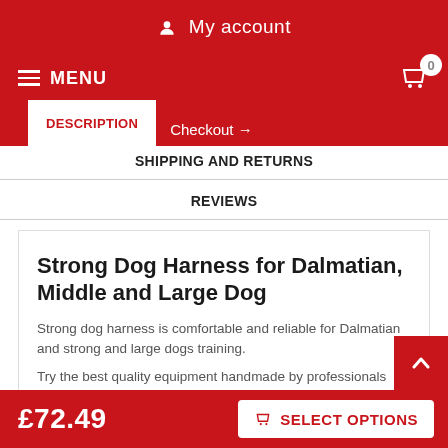My account
MENU  0
DESCRIPTION
Checkout →
SHIPPING AND RETURNS
REVIEWS
Strong Dog Harness for Dalmatian, Middle and Large Dog
Strong dog harness is comfortable and reliable for Dalmatian and strong and large dogs training.
Try the best quality equipment handmade by professionals and
£72.49
SELECT OPTIONS